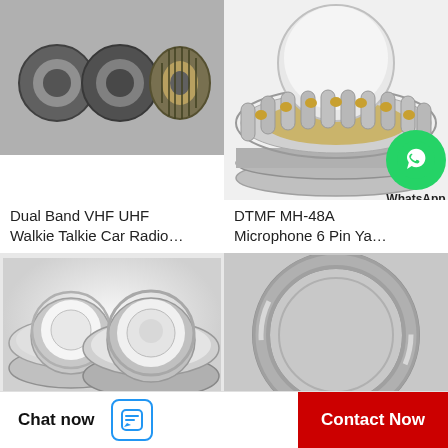[Figure (photo): Three ball bearings on gray background]
[Figure (photo): Thrust bearing / spherical roller thrust bearing, silver and gold, close-up on white background]
Dual Band VHF UHF Walkie Talkie Car Radio…
DTMF MH-48A Microphone 6 Pin Ya…
[Figure (photo): WhatsApp Online green circle icon with text WhatsApp Online]
[Figure (photo): Two shielded ball bearings on light gray background, bottom-left product]
[Figure (photo): Single thin-section ball bearing on gray background, bottom-right product]
Chat now
Contact Now